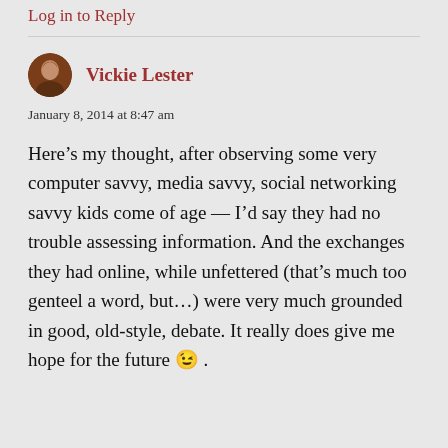Log in to Reply
Vickie Lester
January 8, 2014 at 8:47 am
Here’s my thought, after observing some very computer savvy, media savvy, social networking savvy kids come of age — I’d say they had no trouble assessing information. And the exchanges they had online, while unfettered (that’s much too genteel a word, but…) were very much grounded in good, old-style, debate. It really does give me hope for the future 😉 .